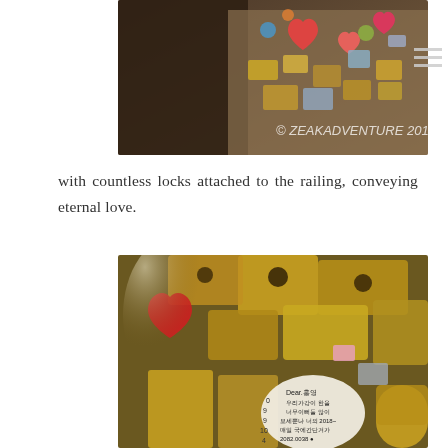[Figure (photo): Close-up photo of colorful locks attached to a railing, with a copyright watermark reading '© ZEAKADVENTURE 2010']
with countless locks attached to the railing, conveying eternal love.
[Figure (photo): Close-up photo of a large pile of padlocks, including a prominent heart-shaped lock with Korean writing beginning with 'Dear.홍영', and various gold and silver padlocks]